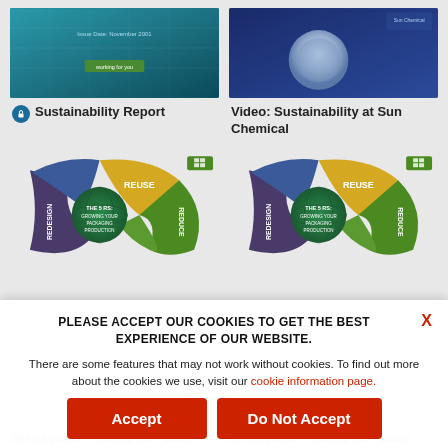[Figure (screenshot): Thumbnail image of Sustainability Report cover with teal/blue background]
Sustainability Report
[Figure (screenshot): Thumbnail image for Video: Sustainability at Sun Chemical with dark blue background and circular grey graphic]
Video: Sustainability at Sun Chemical
[Figure (illustration): Circular diagram showing THE 5 RS: GROWING YOUR PACKAGE PRODUCTION with sections labeled REUSE, REDUCE, REDESIGN]
[Figure (illustration): Circular diagram showing THE 5 RS: GROWING YOUR PACKAGE PRODUCTION with sections labeled REUSE, REDUCE, REDESIGN (second instance)]
PLEASE ACCEPT OUR COOKIES TO GET THE BEST EXPERIENCE OF OUR WEBSITE.
There are some features that may not work without cookies. To find out more about the cookies we use, visit our cookie information page.
5Rs Infographic – Growing Your Package Production Sustainably
5Rs Infographic – Growing Your Package Production Sustainably-A4 Version